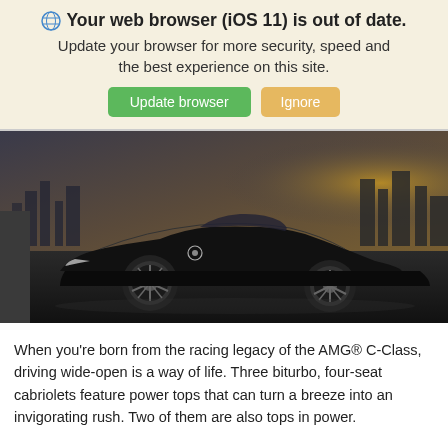🌐 Your web browser (iOS 11) is out of date. Update your browser for more security, speed and the best experience on this site.
[Figure (photo): Black Mercedes-Benz AMG C-Class convertible (cabriolet) photographed against a dramatic cityscape skyline with moody sky and golden sunset light.]
When you're born from the racing legacy of the AMG® C-Class, driving wide-open is a way of life. Three biturbo, four-seat cabriolets feature power tops that can turn a breeze into an invigorating rush. Two of them are also tops in power.